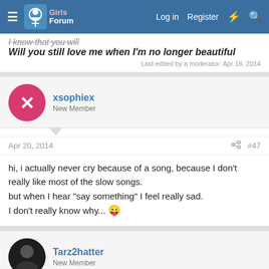Girls Forum — Log in   Register
I know that you will
Will you still love me when I'm no longer beautiful
Last edited by a moderator: Apr 18, 2014
xsophiex
New Member
Apr 20, 2014   #47
hi, i actually never cry because of a song, because I don't really like most of the slow songs.
but when I hear "say something" I feel really sad.
I don't really know why... 😛
Tarz2hatter
New Member
Apr 21, 2014   #48